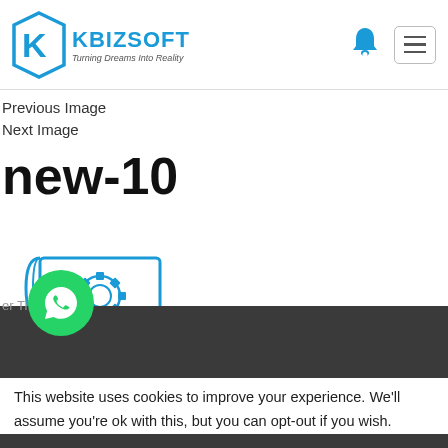[Figure (logo): Kbizsoft logo with hexagon K icon in blue and text KBIZSOFT - Turning Dreams Into Reality]
Previous Image
Next Image
new-10
[Figure (illustration): Blueprint/document with gear/cog icon in blue outline style]
This website uses cookies to improve your experience. We'll assume you're ok with this, but you can opt-out if you wish.